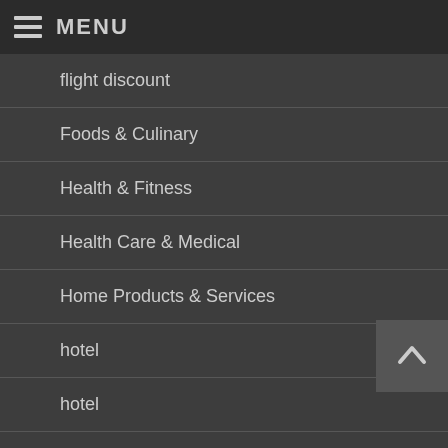MENU
flight discount
Foods & Culinary
Health & Fitness
Health Care & Medical
Home Products & Services
hotel
hotel
international flights
Internet Services
island